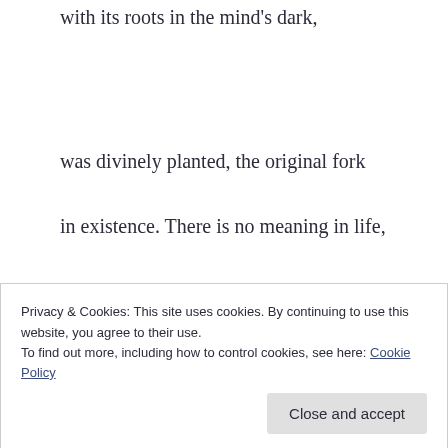with its roots in the mind's dark,
was divinely planted, the original fork
in existence. There is no meaning in life,
unless men can be found to reject
Privacy & Cookies: This site uses cookies. By continuing to use this website, you agree to their use. To find out more, including how to control cookies, see here: Cookie Policy
Close and accept